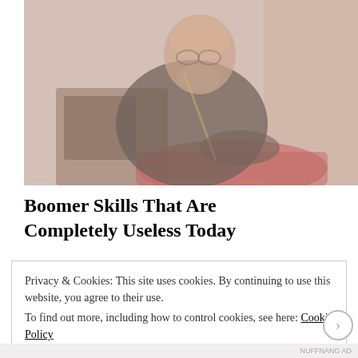[Figure (photo): Faded/washed-out photo of an elderly bald man with glasses and a beard wearing a dark jacket, leaning over a sewing machine, working with red fabric. The image has a warm pinkish-beige tone.]
Boomer Skills That Are Completely Useless Today
Privacy & Cookies: This site uses cookies. By continuing to use this website, you agree to their use.
To find out more, including how to control cookies, see here: Cookie Policy